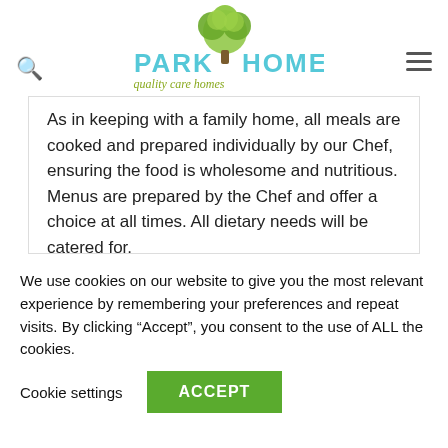[Figure (logo): Park Homes logo with a green tree illustration above the text 'PARK HOMES' in light blue and the tagline 'quality care homes' in olive/gold italic script below]
As in keeping with a family home, all meals are cooked and prepared individually by our Chef, ensuring the food is wholesome and nutritious. Menus are prepared by the Chef and offer a choice at all times. All dietary needs will be catered for.
We use cookies on our website to give you the most relevant experience by remembering your preferences and repeat visits. By clicking “Accept”, you consent to the use of ALL the cookies.
Cookie settings  ACCEPT